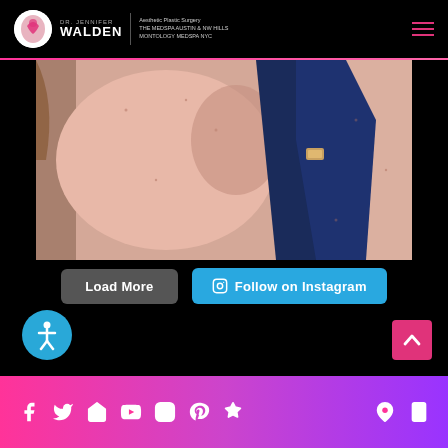[Figure (logo): Dr. Jennifer Walden Aesthetic Plastic Surgery logo with circular icon, name, and subtitle text about Austin & NW Hills, Montology Medspa NYC]
[Figure (photo): Close-up photograph showing a person's underarm/axilla area and upper chest wearing a navy blue bra/swimwear top, skin appears fair with freckles]
Load More
Follow on Instagram
[Figure (illustration): Accessibility icon — white figure with arms outstretched inside a teal/cyan circle]
[Figure (illustration): Back to top arrow button — white upward chevron on pink/magenta square button]
Social media icons: Facebook, Twitter, Google My Business, YouTube, Instagram, Pinterest, Checkmark badge, Location pin, Mobile phone